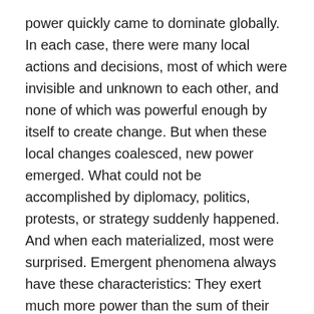power quickly came to dominate globally. In each case, there were many local actions and decisions, most of which were invisible and unknown to each other, and none of which was powerful enough by itself to create change. But when these local changes coalesced, new power emerged. What could not be accomplished by diplomacy, politics, protests, or strategy suddenly happened. And when each materialized, most were surprised. Emergent phenomena always have these characteristics: They exert much more power than the sum of their parts; they always possess new capacities different from the local actions that engendered them; they always surprise us by their appearance.
It is important to note that emergence always results in a powerful system that has many more capacities than could ever be predicted by analyzing the individual parts. We